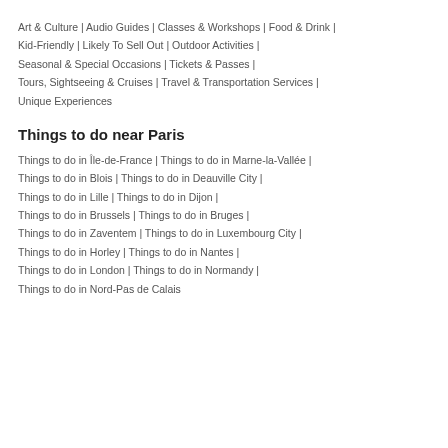Art & Culture | Audio Guides | Classes & Workshops | Food & Drink | Kid-Friendly | Likely To Sell Out | Outdoor Activities | Seasonal & Special Occasions | Tickets & Passes | Tours, Sightseeing & Cruises | Travel & Transportation Services | Unique Experiences
Things to do near Paris
Things to do in Île-de-France | Things to do in Marne-la-Vallée |
Things to do in Blois | Things to do in Deauville City |
Things to do in Lille | Things to do in Dijon |
Things to do in Brussels | Things to do in Bruges |
Things to do in Zaventem | Things to do in Luxembourg City |
Things to do in Horley | Things to do in Nantes |
Things to do in London | Things to do in Normandy |
Things to do in Nord-Pas de Calais